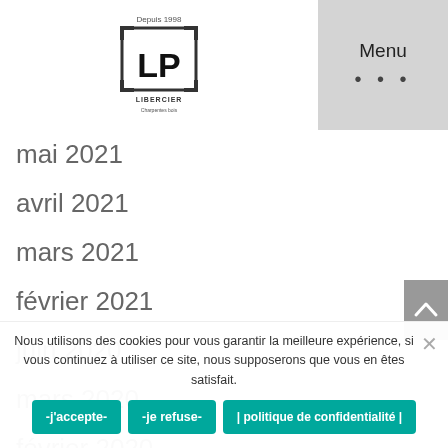[Figure (logo): LP Libercier logo with text 'Depuis 1998' at top]
Menu
mai 2021
avril 2021
mars 2021
février 2021
juin 2020
mars 2020
février 2020
décembre 2019
mai 2019
avril 2019
Nous utilisons des cookies pour vous garantir la meilleure expérience, si vous continuez à utiliser ce site, nous supposerons que vous en êtes satisfait.
-j'accepte-    -je refuse-    | politique de confidentialité |